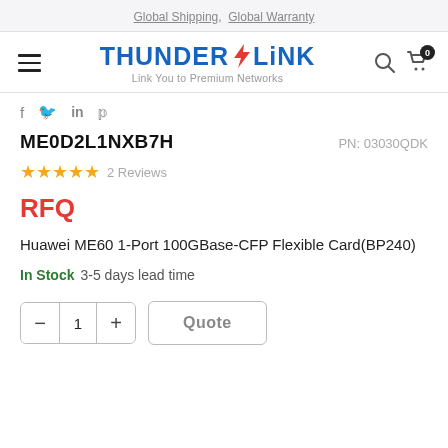Global Shipping,  Global Warranty
[Figure (logo): ThunderLink logo with lightning bolt: 'THUNDER' in blue, red lightning bolt, 'LINK' in blue, tagline 'Link You to Premium Networks']
f  in  p (social share icons)
ME0D2L1NXB7H
PN: 03030QDK
★★★★★  2 Reviews
RFQ
Huawei ME60 1-Port 100GBase-CFP Flexible Card(BP240)
In Stock  3-5 days lead time
- 1 +  Quote